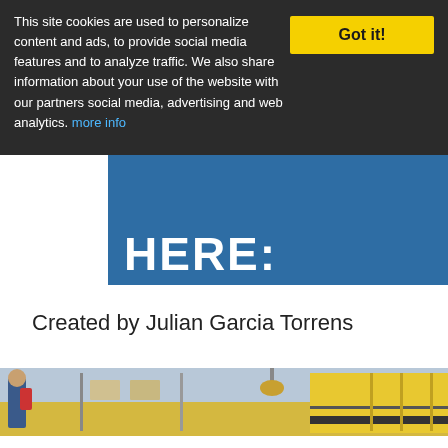This site cookies are used to personalize content and ads, to provide social media features and to analyze traffic. We also share information about your use of the website with our partners social media, advertising and web analytics. more info
[Figure (screenshot): Blue banner with large white bold text 'HERE:' partially visible]
Created by Julian Garcia Torrens
[Figure (photo): School hallway photo strip showing students in a corridor with lockers and school bus colors, partially cropped]
Copyright schoolsok 2020. All rights reserved
Privacy policy   Sitemap   Terms   Contact